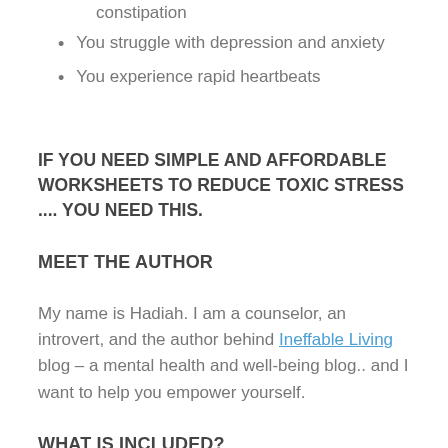constipation
You struggle with depression and anxiety
You experience rapid heartbeats
IF YOU NEED SIMPLE AND AFFORDABLE WORKSHEETS TO REDUCE TOXIC STRESS .... YOU NEED THIS.
MEET THE AUTHOR
My name is Hadiah. I am a counselor, an introvert, and the author behind Ineffable Living blog – a mental health and well-being blog.. and I want to help you empower yourself.
WHAT IS INCLUDED?